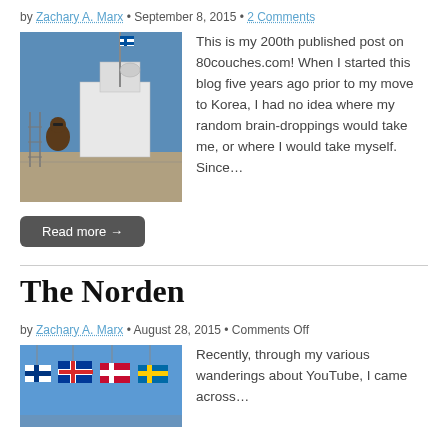by Zachary A. Marx • September 8, 2015 • 2 Comments
[Figure (photo): Person on ship deck looking out, blue sky, ship equipment visible]
This is my 200th published post on 80couches.com! When I started this blog five years ago prior to my move to Korea, I had no idea where my random brain-droppings would take me, or where I would take myself. Since…
Read more →
The Norden
by Zachary A. Marx • August 28, 2015 • Comments Off
[Figure (photo): Nordic flags (Finnish, Icelandic, Danish, Swedish) against blue sky]
Recently, through my various wanderings about YouTube, I came across…